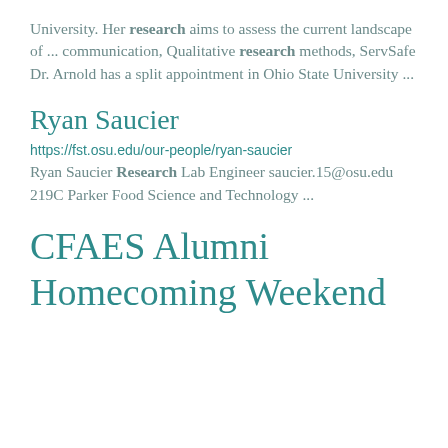University. Her research aims to assess the current landscape of ... communication, Qualitative research methods, ServSafe Dr. Arnold has a split appointment in Ohio State University ...
Ryan Saucier
https://fst.osu.edu/our-people/ryan-saucier
Ryan Saucier Research Lab Engineer saucier.15@osu.edu 219C Parker Food Science and Technology ...
CFAES Alumni Homecoming Weekend